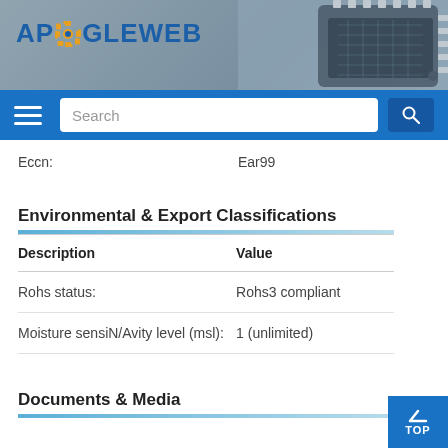APOGEWEB
Eccn: Ear99
Environmental & Export Classifications
| Description | Value |
| --- | --- |
| Rohs status: | Rohs3 compliant |
| Moisture sensiN/Avity level (msl): | 1 (unlimited) |
Documents & Media